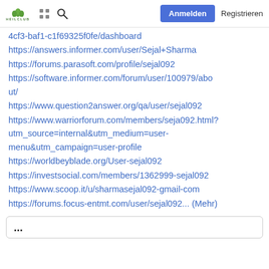HEILCLUB | [grid icon] | [search icon] | Anmelden | Registrieren
4cf3-baf1-c1f69325f0fe/dashboard
https://answers.informer.com/user/Sejal+Sharma
https://forums.parasoft.com/profile/sejal092
https://software.informer.com/forum/user/100979/about/
https://www.question2answer.org/qa/user/sejal092
https://www.warriorforum.com/members/seja092.html?utm_source=internal&utm_medium=user-menu&utm_campaign=user-profile
https://worldbeyblade.org/User-sejal092
https://investsocial.com/members/1362999-sejal092
https://www.scoop.it/u/sharmasejal092-gmail-com
https://forums.focus-entmt.com/user/sejal092... (Mehr)
...